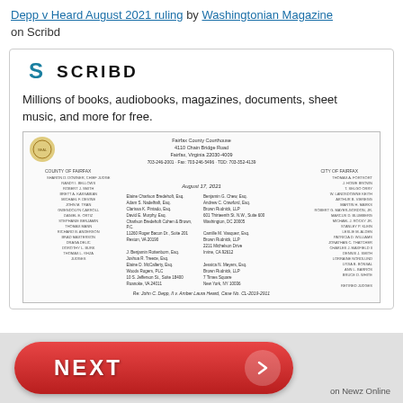Depp v Heard August 2021 ruling by Washingtonian Magazine on Scribd
[Figure (screenshot): Scribd logo and description card showing the Scribd 'S' icon, the word SCRIBD, and the tagline 'Millions of books, audiobooks, magazines, documents, sheet music, and more for free.' Below is a screenshot of a legal document from Fairfax County Courthouse dated August 17, 2021, showing attorney names and case reference to John C. Depp II v. Amber Laura Heard, Case No. CL-2019-2911.]
[Figure (screenshot): NEXT button in red/coral color with white bold text and right-pointing arrow, labeled 'on Newz Online' at bottom right.]